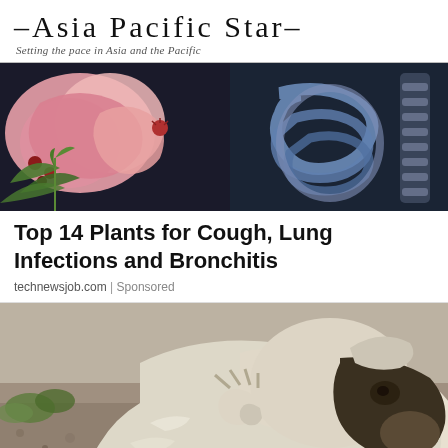–Asia Pacific Star–
Setting the pace in Asia and the Pacific
[Figure (photo): Medical illustration showing pink lungs/organs on the left side and a blue anatomical rendering of intestines/digestive system on the right side, against a dark background with green herb leaves]
Top 14 Plants for Cough, Lung Infections and Bronchitis
technewsjob.com | Sponsored
[Figure (photo): A large white/cream colored dog with a dark face, appearing to scratch or bite at its neck/side. The dog is outdoors on gravelly ground with some green plants visible in the background.]